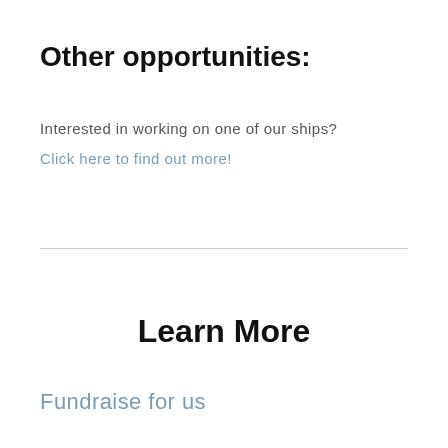Other opportunities:
Interested in working on one of our ships?
Click here to find out more!
Learn More
Fundraise for us